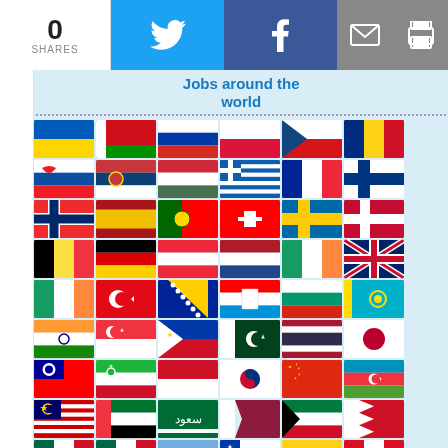0 SHARES | Twitter | Facebook | Email | Print
Jobs around the world
[Figure (illustration): Grid of country flag icons arranged in rows representing countries from Europe, Asia, Middle East, Americas, and Africa - used as navigation links for jobs around the world]